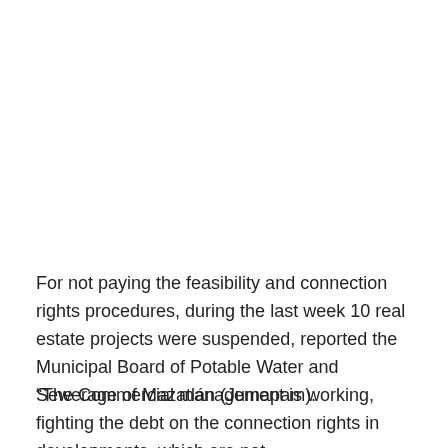For not paying the feasibility and connection rights procedures, during the last week 10 real estate projects were suspended, reported the Municipal Board of Potable Water and Sewerage of Mazatlán (Jumapam).
“The Commercial management is working, fighting the debt on the connection rights in developments, which are not